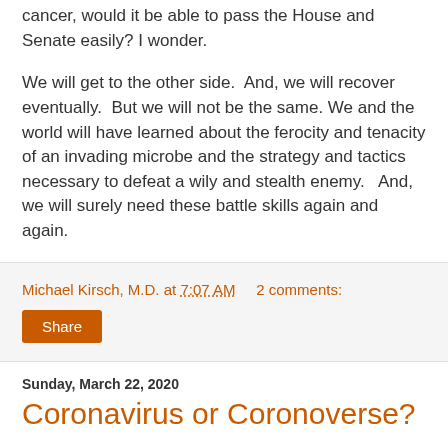cancer, would it be able to pass the House and Senate easily? I wonder.
We will get to the other side.  And, we will recover eventually.  But we will not be the same. We and the world will have learned about the ferocity and tenacity of an invading microbe and the strategy and tactics necessary to defeat a wily and stealth enemy.   And, we will surely need these battle skills again and again.
Michael Kirsch, M.D. at 7:07 AM    2 comments:
Share
Sunday, March 22, 2020
Coronavirus or Coronoverse?